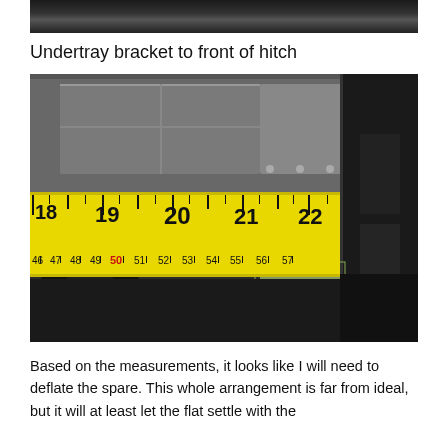[Figure (photo): Partial view of underside of vehicle, cropped at top of page.]
Undertray bracket to front of hitch
[Figure (photo): Photo showing a yellow tape measure under a vehicle, measuring the distance from the undertray bracket to the front of the hitch. The tape reads approximately 18 through 22 inches (with sub-markings 46–57). The underside of the vehicle and a spare tire are visible.]
Based on the measurements, it looks like I will need to deflate the spare. This whole arrangement is far from ideal, but it will at least let the flat settle with the